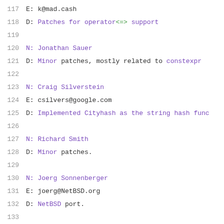117  E: k@mad.cash
118  D: Patches for operator<=> support
119
120  N: Jonathan Sauer
121  D: Minor patches, mostly related to constexpr
122
123  N: Craig Silverstein
124  E: csilvers@google.com
125  D: Implemented Cityhash as the string hash func
126
127  N: Richard Smith
128  D: Minor patches.
129
130  N: Joerg Sonnenberger
131  E: joerg@NetBSD.org
132  D: NetBSD port.
133
134  N: Stephan Tolksdorf
135  E: st@quanttec.com
136  D: Minor <atomic> fix
137